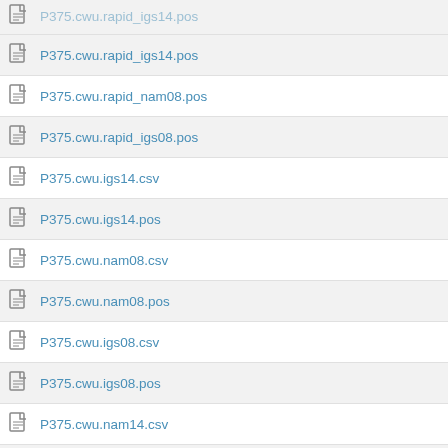P375.cwu.rapid_igs14.pos
P375.cwu.rapid_nam08.pos
P375.cwu.rapid_igs08.pos
P375.cwu.igs14.csv
P375.cwu.igs14.pos
P375.cwu.nam08.csv
P375.cwu.nam08.pos
P375.cwu.igs08.csv
P375.cwu.igs08.pos
P375.cwu.nam14.csv
P375.cwu.nam14.pos